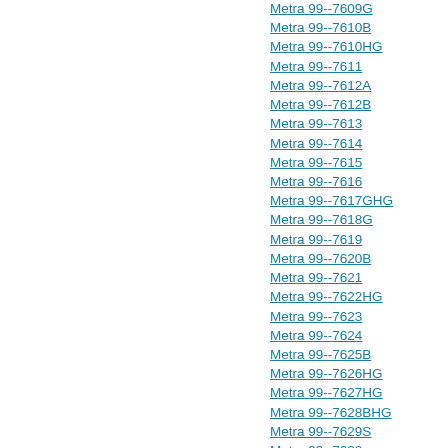Metra 99--7609G
Metra 99--7610B
Metra 99--7610HG
Metra 99--7611
Metra 99--7612A
Metra 99--7612B
Metra 99--7613
Metra 99--7614
Metra 99--7615
Metra 99--7616
Metra 99--7617GHG
Metra 99--7618G
Metra 99--7619
Metra 99--7620B
Metra 99--7621
Metra 99--7622HG
Metra 99--7623
Metra 99--7624
Metra 99--7625B
Metra 99--7626HG
Metra 99--7627HG
Metra 99--7628BHG
Metra 99--7629S
Metra 99--7630
Metra 99--7802CH
Metra 99--7803G
Metra 99--7804B
Metra 99--7805CH
Metra 99--7806B
Metra 99--7807